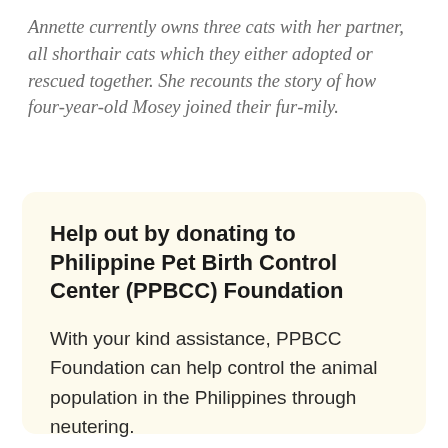Annette currently owns three cats with her partner, all shorthair cats which they either adopted or rescued together. She recounts the story of how four-year-old Mosey joined their fur-mily.
Help out by donating to Philippine Pet Birth Control Center (PPBCC) Foundation
With your kind assistance, PPBCC Foundation can help control the animal population in the Philippines through neutering.
Donate to shelter